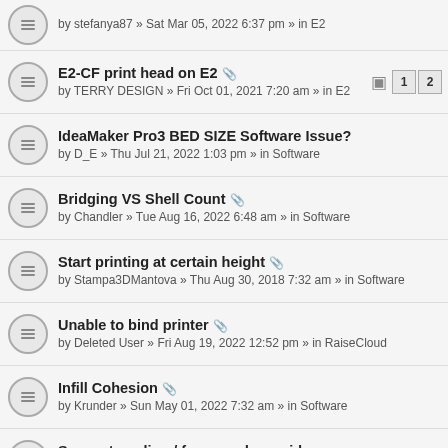by stefanya87 » Sat Mar 05, 2022 6:37 pm » in E2
E2-CF print head on E2 — by TERRY DESIGN » Fri Oct 01, 2021 7:20 am » in E2 [pages 1 2]
IdeaMaker Pro3 BED SIZE Software Issue? — by D_E » Thu Jul 21, 2022 1:03 pm » in Software
Bridging VS Shell Count — by Chandler » Tue Aug 16, 2022 6:48 am » in Software
Start printing at certain height — by Stampa3DMantova » Thu Aug 30, 2018 7:32 am » in Software
Unable to bind printer — by Deleted User » Fri Aug 19, 2022 12:52 pm » in RaiseCloud
Infill Cohesion — by Krunder » Sun May 01, 2022 7:32 am » in Software
Support cooling / fan speed override — by Falcounet » Sat Aug 20, 2022 1:48 pm » in Software
Tree Supports in IdeaMaker — by steverc1572 » Sun Dec 22, 2019 11:08 pm » in Software [pages 1 2]